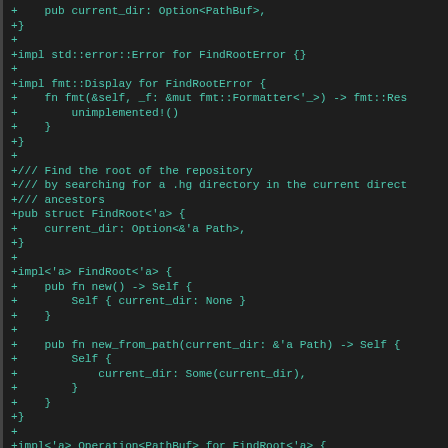[Figure (screenshot): Code diff screenshot showing Rust source code additions (green/teal colored lines starting with '+') for FindRootError and FindRoot struct implementations including impl blocks for std::error::Error, fmt::Display, FindRoot, and Operation<PathBuf> traits.]